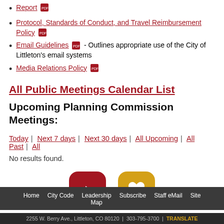Report [pdf]
Protocol, Standards of Conduct, and Travel Reimbursement Policy [pdf]
Email Guidelines [pdf] - Outlines appropriate use of the City of Littleton's email systems
Media Relations Policy [pdf]
All Public Meetings Calendar List
Upcoming Planning Commission Meetings:
Today | Next 7 days | Next 30 days | All Upcoming | All Past | All
No results found.
[Figure (illustration): YouTube icon (red rounded square) and Fix-It app icon (yellow rounded square with heart and wrench)]
Home | City Code | Leadership Map | Subscribe | Staff eMail | Site
2255 W. Berry Ave., Littleton, CO 80120 | 303-795-3700 | TRANSLATE